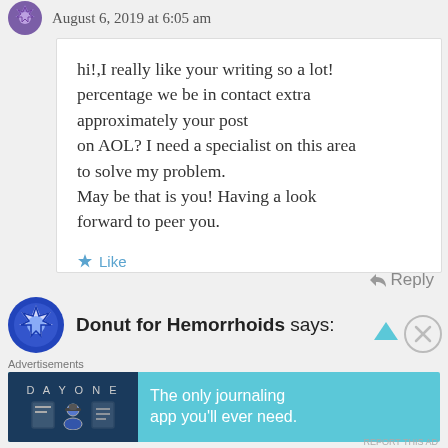August 6, 2019 at 6:05 am
hi!,I really like your writing so a lot! percentage we be in contact extra approximately your post on AOL? I need a specialist on this area to solve my problem. May be that is you! Having a look forward to peer you.
★ Like
↩ Reply
Donut for Hemorrhoids says:
[Figure (screenshot): Day One journaling app advertisement banner: dark blue left panel with 'DAY ONE' text and app icons, teal right panel with text 'The only journaling app you'll ever need.']
Advertisements
REPORT THIS AD